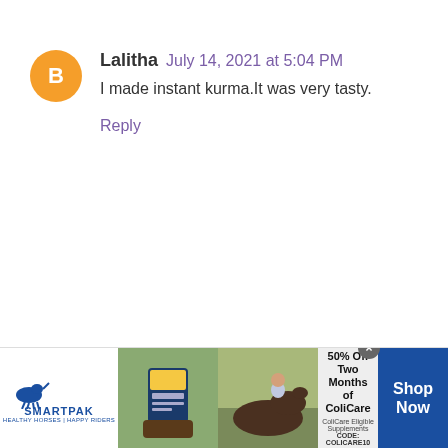Lalitha July 14, 2021 at 5:04 PM
I made instant kurma.It was very tasty.
Reply
[Figure (infographic): SmartPak advertisement banner at the bottom showing 50% Off Two Months of ColiCare with a horse supplement product image and horse/rider photo]